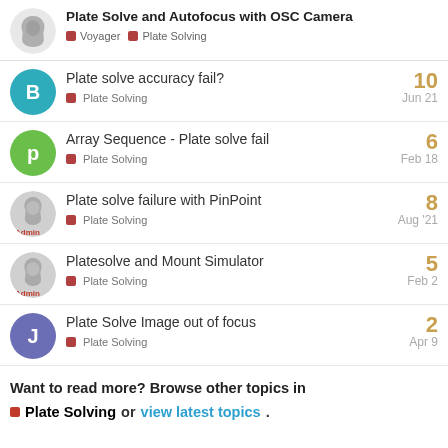Plate Solve and Autofocus with OSC Camera
Voyager · Plate Solving
Plate solve accuracy fail? | Plate Solving | Jun 21 | 10 replies
Array Sequence - Plate solve fail | Plate Solving | Feb 18 | 6 replies
Plate solve failure with PinPoint | Plate Solving | Aug '21 | 8 replies
Platesolve and Mount Simulator | Plate Solving | Feb 2 | 5 replies
Plate Solve Image out of focus | Plate Solving | Apr 9 | 2 replies
Want to read more? Browse other topics in Plate Solving or view latest topics.